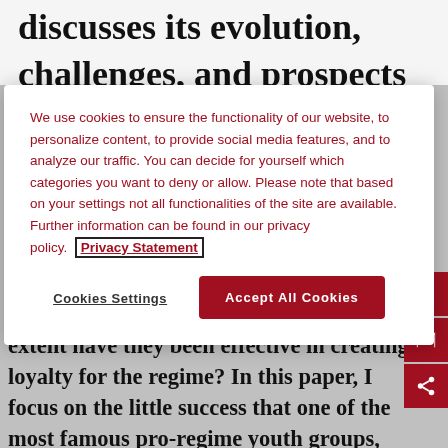discusses its evolution, challenges, and prospects
We use cookies to ensure the functionality of our website, to personalize content, to provide social media features, and to analyze our traffic. You can decide for yourself which categories you want to deny or allow. Please note that based on your settings not all functionalities of the site are available. Further information can be found in our privacy policy. Privacy Statement
Cookies Settings
Accept All Cookies
state, often mimicking and duplicating grassroot organizations. But to what extent have they been effective in creating loyalty for the regime? In this paper, I focus on the little success that one of the most famous pro-regime youth groups, Nashi (Ours), paradoxically achieved in channeling civil society. While Nashi undeniably brought important benefits to some participants at the individual level, its effects at the societal level are